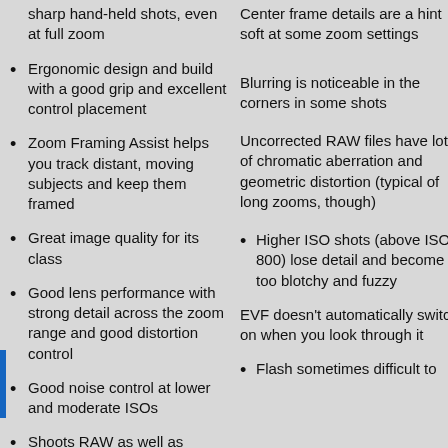sharp hand-held shots, even at full zoom
Center frame details are a hint soft at some zoom settings
Ergonomic design and build with a good grip and excellent control placement
Blurring is noticeable in the corners in some shots
Zoom Framing Assist helps you track distant, moving subjects and keep them framed
Uncorrected RAW files have lots of chromatic aberration and geometric distortion (typical of long zooms, though)
Great image quality for its class
Good lens performance with strong detail across the zoom range and good distortion control
Higher ISO shots (above ISO 800) lose detail and become too blotchy and fuzzy
Good noise control at lower and moderate ISOs
EVF doesn't automatically switch on when you look through it
Shoots RAW as well as JPEGs
Flash sometimes difficult to